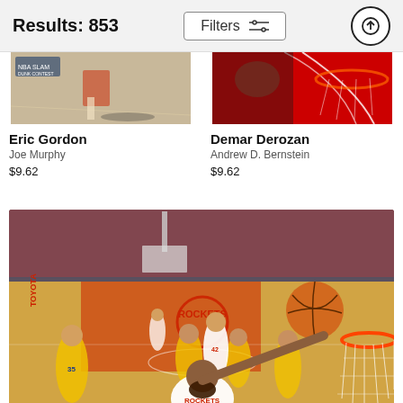Results: 853
Filters
[Figure (photo): Cropped basketball action photo - Eric Gordon]
Eric Gordon
Joe Murphy
$9.62
[Figure (photo): Cropped basketball action photo - Demar Derozan]
Demar Derozan
Andrew D. Bernstein
$9.62
[Figure (photo): Basketball game photo showing James Harden #13 in Rockets uniform attempting a shot near the basket, opponents in yellow uniforms, full arena crowd visible]